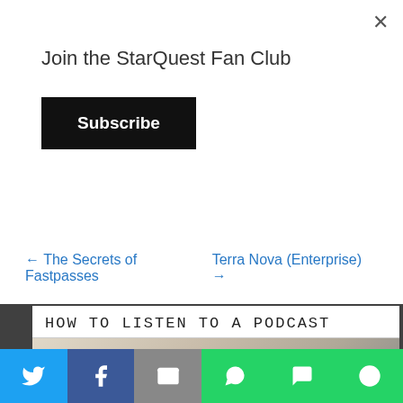Join the StarQuest Fan Club
Subscribe
← The Secrets of Fastpasses
Terra Nova (Enterprise) →
HOW TO LISTEN TO A PODCAST
[Figure (photo): Person lying on couch wearing white headphones, holding a smartphone, listening to a podcast]
[Figure (infographic): Social sharing bar with Twitter, Facebook, Email, WhatsApp, SMS, and More buttons]